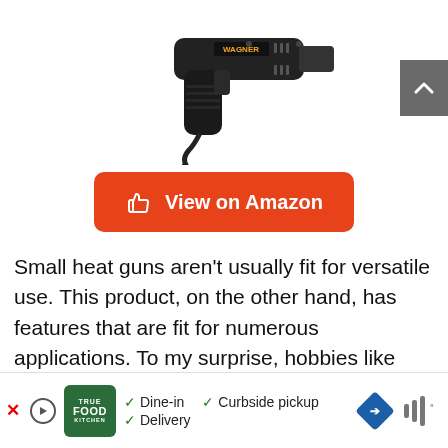[Figure (photo): Black Wagner brand heat gun tool photographed against white background, showing the barrel and handle with cord]
[Figure (other): Orange 'View on Amazon' button with thumbs-up icon]
Small heat guns aren't usually fit for versatile use. This product, on the other hand, has features that are fit for numerous applications. To my surprise, hobbies like crafting and workshops won't make this heat gun have issues like overheating or melting after long-period usage.
[Figure (screenshot): Advertisement bar at bottom showing True Food Kitchen ad with Dine-in, Curbside pickup, and Delivery options]